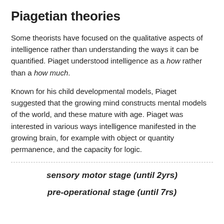Piagetian theories
Some theorists have focused on the qualitative aspects of intelligence rather than understanding the ways it can be quantified. Piaget understood intelligence as a how rather than a how much.
Known for his child developmental models, Piaget suggested that the growing mind constructs mental models of the world, and these mature with age. Piaget was interested in various ways intelligence manifested in the growing brain, for example with object or quantity permanence, and the capacity for logic.
sensory motor stage (until 2yrs)
pre-operational stage (until 7rs)